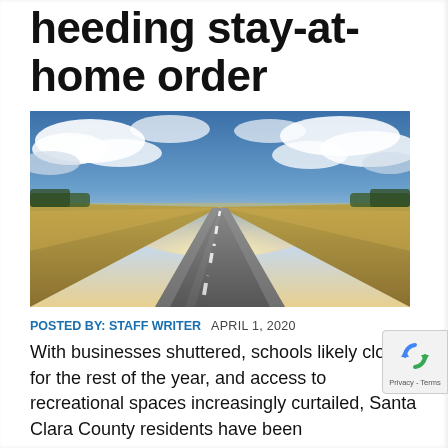heeding stay-at-home order
[Figure (photo): Empty straight road stretching to the horizon through flat fields under a dramatic cloudy sky with bright sunlight on the horizon]
POSTED BY: STAFF WRITER   APRIL 1, 2020
With businesses shuttered, schools likely closed for the rest of the year, and access to recreational spaces increasingly curtailed, Santa Clara County residents have been